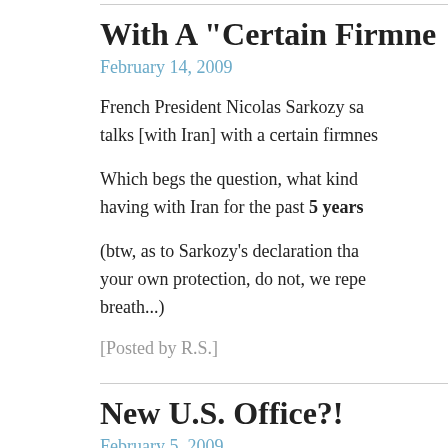With A "Certain Firmne
February 14, 2009
French President Nicolas Sarkozy sa talks [with Iran] with a certain firmnes
Which begs the question, what kind having with Iran for the past 5 years
(btw, as to Sarkozy's declaration tha your own protection, do not, we repe breath...)
[Posted by R.S.]
New U.S. Office?!
February 5, 2009
Why worry about "creeping" sharia, w
The Muslim Brotherhood - i.e., the ic